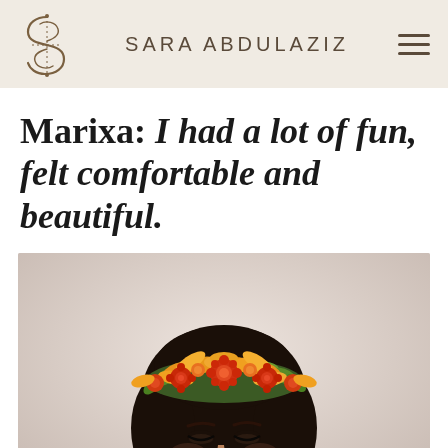SARA ABDULAZIZ
Marixa: I had a lot of fun, felt comfortable and beautiful.
[Figure (photo): A young woman with dark curly hair, looking downward, wearing a floral crown made of orange, red, and yellow flowers with green leaves against a soft light background.]